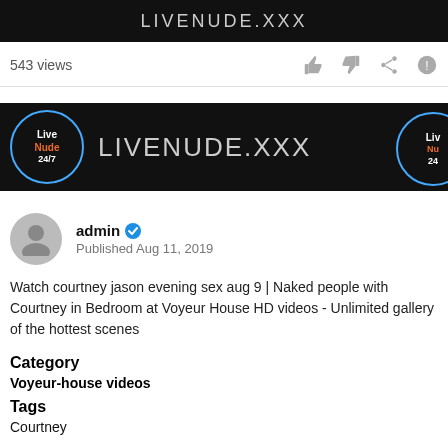[Figure (screenshot): Top black banner with LIVENUDE.XXX text in grey letters]
543 views
[Figure (screenshot): Middle black advertisement banner: circle with Live Nude 24/7 text in blue/orange, large LIVENUDE.XXX text, partial circle on right]
admin Published Aug 11, 2019
Watch courtney jason evening sex aug 9 | Naked people with Courtney in Bedroom at Voyeur House HD videos - Unlimited gallery of the hottest scenes
Category
Voyeur-house videos
Tags
Courtney